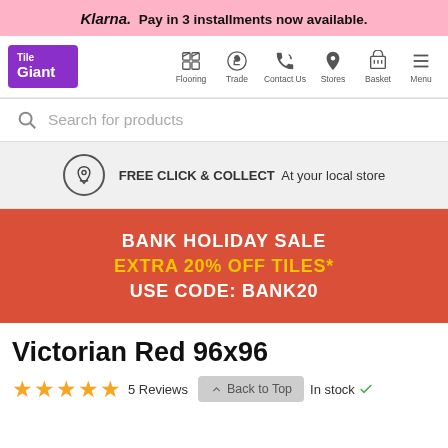Klarna. Pay in 3 installments now available.
[Figure (logo): Tile Giant logo in purple square, navigation bar with icons: Flooring, Trade, Contact Us, Stores, Basket, Menu]
Search for products
FREE CLICK & COLLECT At your local store
BANK HOLIDAY SALE
EXTRA 20% OFF TILES*
USE CODE: BANK20
Victorian Red 96x96
★★★★★ 5 Reviews  In stock